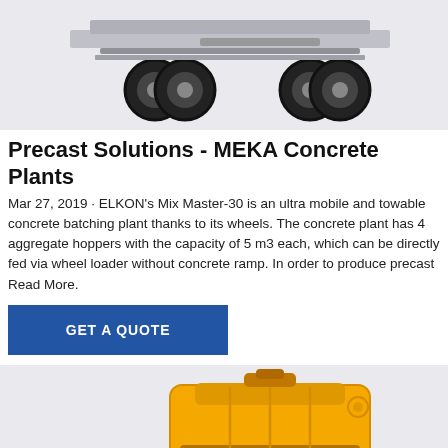[Figure (photo): Partial view of a concrete plant truck/vehicle undercarriage and wheels on a light gray background]
Precast Solutions - MEKA Concrete Plants
Mar 27, 2019 · ELKON's Mix Master-30 is an ultra mobile and towable concrete batching plant thanks to its wheels. The concrete plant has 4 aggregate hoppers with the capacity of 5 m3 each, which can be directly fed via wheel loader without concrete ramp. In order to produce precast Read More.
[Figure (other): Blue button with white text reading GET A QUOTE]
[Figure (photo): Yellow concrete mixer drum on a light gray background with partial text '62' visible]
[Figure (other): Footer bar with Send Message button (blue) and Inquiry Online button (tan/gold)]